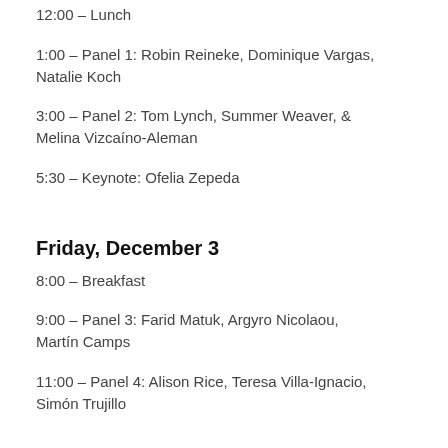12:00 – Lunch
1:00 – Panel 1: Robin Reineke, Dominique Vargas, Natalie Koch
3:00 – Panel 2: Tom Lynch, Summer Weaver, & Melina Vizcaíno-Aleman
5:30 – Keynote: Ofelia Zepeda
Friday, December 3
8:00 – Breakfast
9:00 – Panel 3: Farid Matuk, Argyro Nicolaou, Martín Camps
11:00 – Panel 4: Alison Rice, Teresa Villa-Ignacio, Simón Trujillo